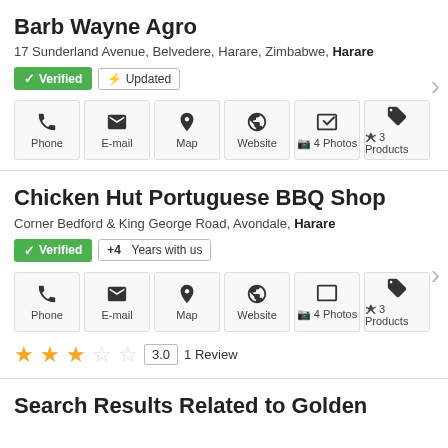Barb Wayne Agro
17 Sunderland Avenue, Belvedere, Harare, Zimbabwe, Harare
Verified · Updated
Phone · E-mail · Map · Website · 4 Photos · 3 Products
Chicken Hut Portuguese BBQ Shop
Corner Bedford & King George Road, Avondale, Harare
Verified · +4 Years with us
Phone · E-mail · Map · Website · 4 Photos · 3 Products
3.0 · 1 Review
Search Results Related to Golden